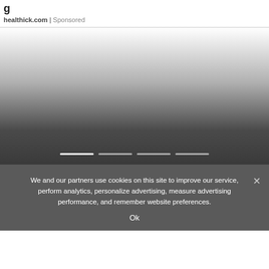healthick.com | Sponsored
[Figure (photo): Slideshow image area with gradient overlay (white to dark gray/charcoal) and four horizontal slider indicator bars at the bottom]
We and our partners use cookies on this site to improve our service, perform analytics, personalize advertising, measure advertising performance, and remember website preferences.
Ok